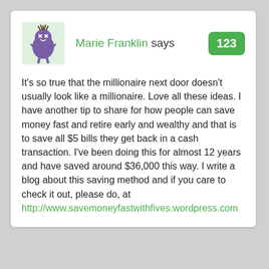[Figure (illustration): Cartoon purple blob character with X eyes and small arms, on a light green background, used as a user avatar]
Marie Franklin says
123
It’s so true that the millionaire next door doesn’t usually look like a millionaire. Love all these ideas. I have another tip to share for how people can save money fast and retire early and wealthy and that is to save all $5 bills they get back in a cash transaction. I’ve been doing this for almost 12 years and have saved around $36,000 this way. I write a blog about this saving method and if you care to check it out, please do, at http://www.savemoneyfastwithfives.wordpress.com